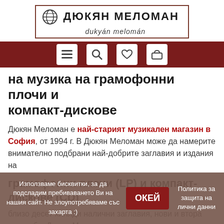[Figure (logo): Дюкян Меломан logo with globe icon and text in a bordered box]
Дюкян Меломан е Вашият доставчик
на музика на грамофонни плочи и компакт-дискове
Дюкян Меломан е най-старият музикален магазин в София, от 1994 г. В Дюкян Меломан може да намерите внимателно подбрани най-добрите заглавия и издания на
грамофонни плочи (LP) и компакт-дискове (CD)
близо десет хиляди налични заглавия, нови и втора употреба. Дюкян Меломан предлага
Използваме бисквитки, за да подсладим пребиваването Ви на нашия сайт. Не злоупотребяваме със захарта :)
ОКЕЙ
Политика за защита на лични данни